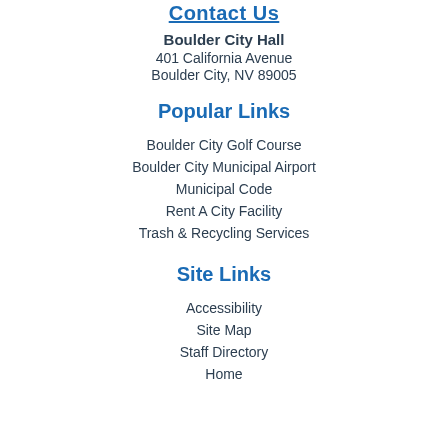Contact Us
Boulder City Hall
401 California Avenue
Boulder City, NV 89005
Popular Links
Boulder City Golf Course
Boulder City Municipal Airport
Municipal Code
Rent A City Facility
Trash & Recycling Services
Site Links
Accessibility
Site Map
Staff Directory
Home